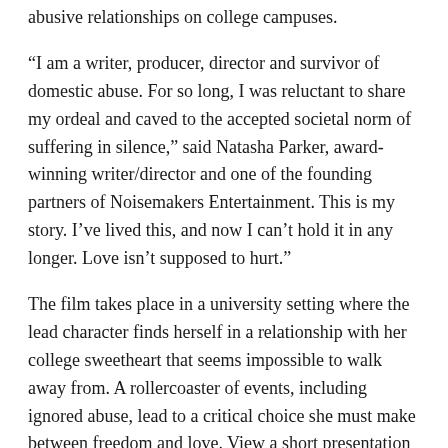abusive relationships on college campuses.
“I am a writer, producer, director and survivor of domestic abuse. For so long, I was reluctant to share my ordeal and caved to the accepted societal norm of suffering in silence,” said Natasha Parker, award-winning writer/director and one of the founding partners of Noisemakers Entertainment. This is my story. I’ve lived this, and now I can’t hold it in any longer. Love isn’t supposed to hurt.”
The film takes place in a university setting where the lead character finds herself in a relationship with her college sweetheart that seems impossible to walk away from. A rollercoaster of events, including ignored abuse, lead to a critical choice she must make between freedom and love. View a short presentation about the film here.